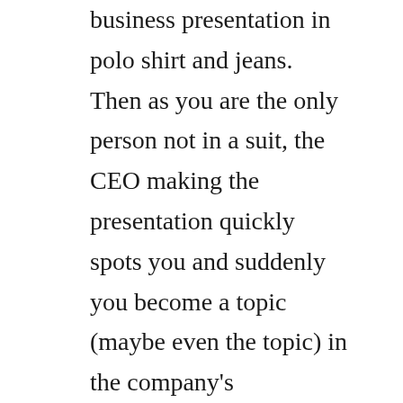business presentation in polo shirt and jeans. Then as you are the only person not in a suit, the CEO making the presentation quickly spots you and suddenly you become a topic (maybe even the topic) in the company's presentation about information retrieval! Also don't take a mouthful of pickled herring at the lunchtime buffet no matter how hungry you are, yuk! In